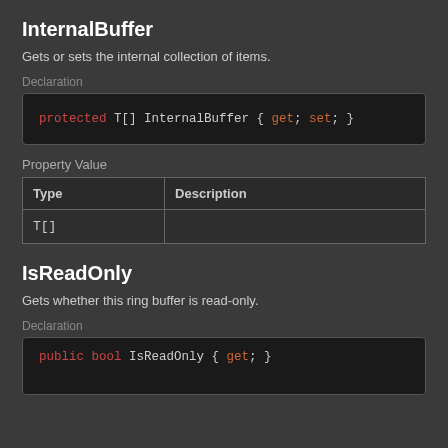InternalBuffer
Gets or sets the internal collection of items.
Declaration
protected T[] InternalBuffer { get; set; }
Property Value
| Type | Description |
| --- | --- |
| T[] |  |
IsReadOnly
Gets whether this ring buffer is read-only.
Declaration
public bool IsReadOnly { get; }